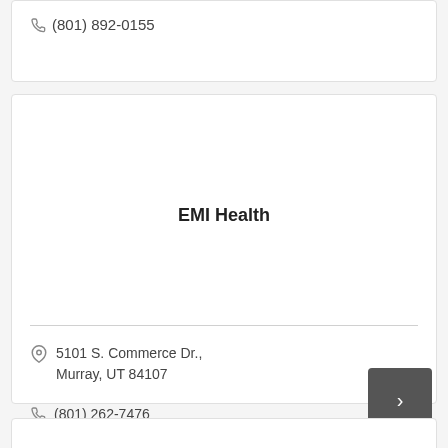(801) 892-0155
EMI Health
5101 S. Commerce Dr., Murray, UT 84107
(801) 262-7476